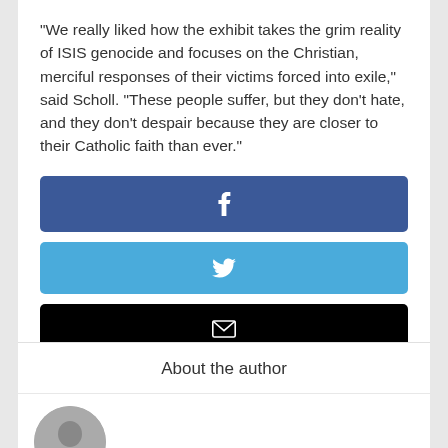“We really liked how the exhibit takes the grim reality of ISIS genocide and focuses on the Christian, merciful responses of their victims forced into exile,” said Scholl. “These people suffer, but they don’t hate, and they don’t despair because they are closer to their Catholic faith than ever.”
[Figure (infographic): Facebook share button (dark blue with white f icon)]
[Figure (infographic): Twitter share button (light blue with white bird icon)]
[Figure (infographic): Email share button (black with white envelope icon)]
About the author
[Figure (photo): Circular author photo, partially visible at bottom of page]
English (language selector widget with US flag)